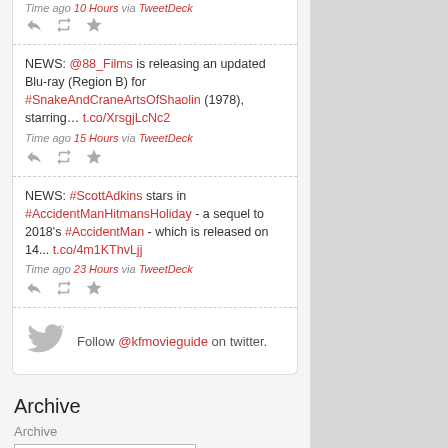Time ago 10 Hours via TweetDeck [actions]
NEWS: @88_Films is releasing an updated Blu-ray (Region B) for #SnakeAndCraneArtsOfShaolin (1978), starring… t.co/XrsgjLcNc2
Time ago 15 Hours via TweetDeck [actions]
NEWS: #ScottAdkins stars in #AccidentManHitmansHoliday - a sequel to 2018's #AccidentMan - which is released on 14... t.co/4m1KThvLjj
Time ago 23 Hours via TweetDeck [actions]
Follow @kfmovieguide on twitter.
Archive
Archive
Select Month